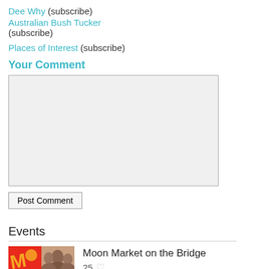Dee Why (subscribe)
Australian Bush Tucker (subscribe)
Places of Interest (subscribe)
Your Comment
[Figure (other): Text input textarea for comment submission]
Post Comment
Events
[Figure (photo): Moon Market on the Bridge event thumbnail image collage with red/orange market branding and crowd photos]
Moon Market on the Bridge
25 ♡